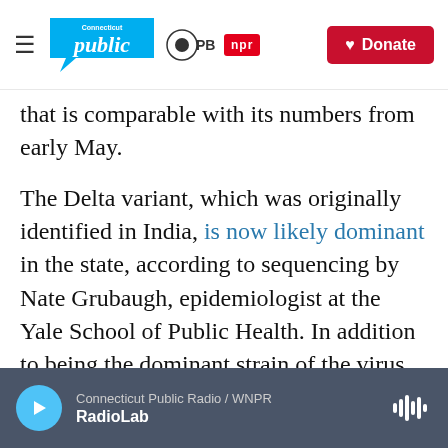Connecticut Public | PBS | NPR | Donate
that is comparable with its numbers from early May.
The Delta variant, which was originally identified in India, is now likely dominant in the state, according to sequencing by Nate Grubaugh, epidemiologist at the Yale School of Public Health. In addition to being the dominant strain of the virus, Delta cases are projected to increase in the coming weeks.
“The main take-away is that we will see a rise in cases in Connecticut due to the Delta
Connecticut Public Radio / WNPR | RadioLab